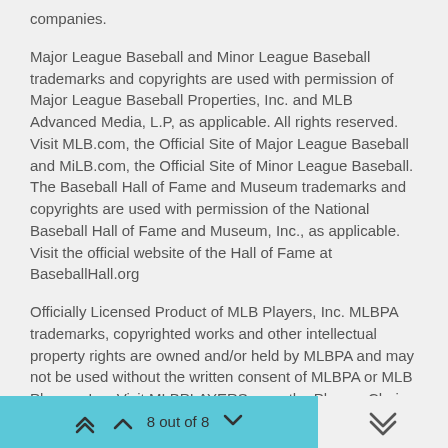companies.
Major League Baseball and Minor League Baseball trademarks and copyrights are used with permission of Major League Baseball Properties, Inc. and MLB Advanced Media, L.P, as applicable. All rights reserved. Visit MLB.com, the Official Site of Major League Baseball and MiLB.com, the Official Site of Minor League Baseball. The Baseball Hall of Fame and Museum trademarks and copyrights are used with permission of the National Baseball Hall of Fame and Museum, Inc., as applicable. Visit the official website of the Hall of Fame at BaseballHall.org
Officially Licensed Product of MLB Players, Inc. MLBPA trademarks, copyrighted works and other intellectual property rights are owned and/or held by MLBPA and may not be used without the written consent of MLBPA or MLB Players, Inc. Visit MLBPLAYERS.com, the Players Choice on the web.
© 2019 Sony Interactive Entertainment LLC.
8 out of 8